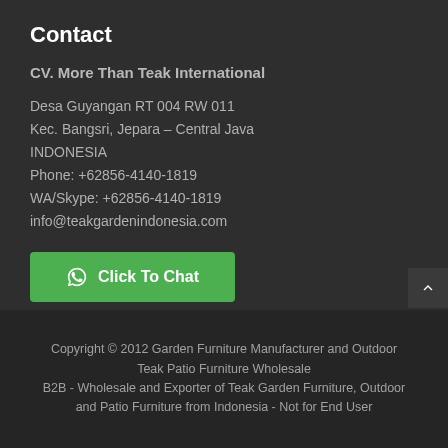Contact
CV. More Than Teak International
Desa Guyangan RT 004 RW 011
Kec. Bangsri, Jepara – Central Java
INDONESIA
Phone: +62856-4140-1819
WA/Skype: +62856-4140-1819
info@teakgardenindonesia.com
Click To Chat
Copyright © 2012 Garden Furniture Manufacturer and Outdoor Teak Patio Furniture Wholesale
B2B - Wholesale and Exporter of Teak Garden Furniture, Outdoor and Patio Furniture from Indonesia - Not for End User